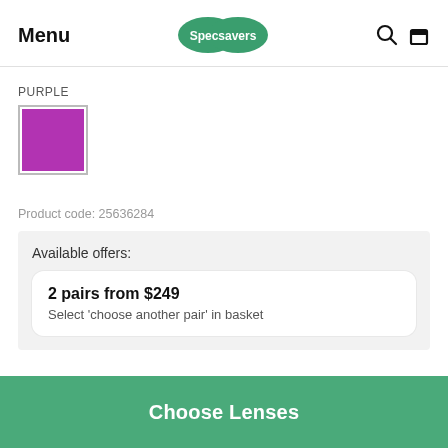Menu | Specsavers
PURPLE
[Figure (other): Purple color swatch square with grey border]
Product code: 25636284
Available offers:
2 pairs from $249
Select 'choose another pair' in basket
Choose Lenses